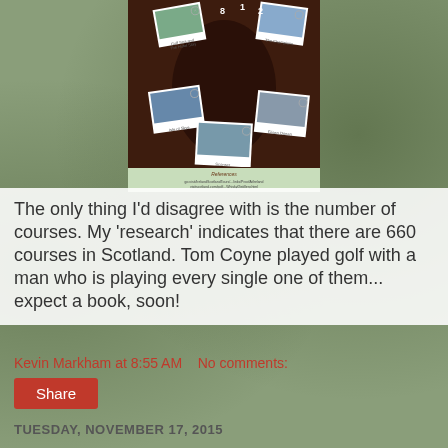[Figure (infographic): Links Golf Ireland infographic showing a map of Scotland/Ireland with polaroid-style photos of golf locations including Golf Spa and The Hotel Stay, The Champions, Isle of Skye, Eilean Donan, Sconser, and references text at the bottom with linksgolf-ireland.com URL.]
The only thing I'd disagree with is the number of courses. My 'research' indicates that there are 660 courses in Scotland. Tom Coyne played golf with a man who is playing every single one of them... expect a book, soon!
Kevin Markham at 8:55 AM   No comments:
Share
TUESDAY, NOVEMBER 17, 2015